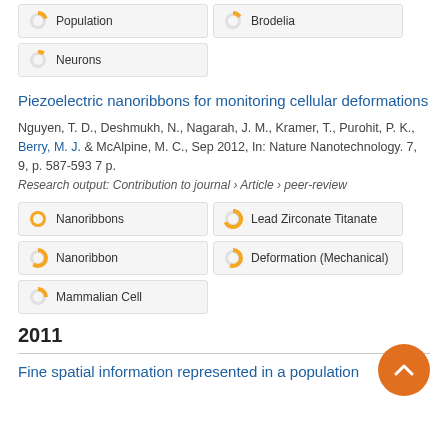Population
Brodelia
Neurons
Piezoelectric nanoribbons for monitoring cellular deformations
Nguyen, T. D., Deshmukh, N., Nagarah, J. M., Kramer, T., Purohit, P. K., Berry, M. J. & McAlpine, M. C., Sep 2012, In: Nature Nanotechnology. 7, 9, p. 587-593 7 p.
Research output: Contribution to journal › Article › peer-review
Nanoribbons
Lead Zirconate Titanate
Nanoribbon
Deformation (Mechanical)
Mammalian Cell
2011
Fine spatial information represented in a population